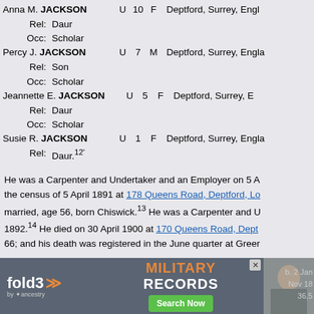Anna M. JACKSON   U   10   F   Deptford, Surrey, Engl...
  Rel: Daur
  Occ: Scholar
Percy J. JACKSON   U   7   M   Deptford, Surrey, Engla...
  Rel: Son
  Occ: Scholar
Jeannette E. JACKSON   U   5   F   Deptford, Surrey, E...
  Rel: Daur
  Occ: Scholar
Susie R. JACKSON   U   1   F   Deptford, Surrey, Engla...
  Rel: Daur.12'
He was a Carpenter and Undertaker and an Employer on 5 A... the census of 5 April 1891 at 178 Queens Road, Deptford, Lo... married, age 56, born Chiswick.13 He was a Carpenter and U... 1892.14 He died on 30 April 1900 at 170 Queens Road, Dept... 66; and his death was registered in the June quarter at Greer...
| Family | Children |
| --- | --- |
| Rose Anna Tigwell b. 14 Sep 1838, d. 16... |  |
|  | Charles Joseph Jackson1 b. 19 Jun... |
|  | Rose Anna Jackson7,14 b. 15 Feb. 1... |
|  | Lucy Jane Jackson b. 30 Sep 1865... |
[Figure (other): fold3 by Ancestry advertisement banner for Military Records with Search Now button and soldier photo]